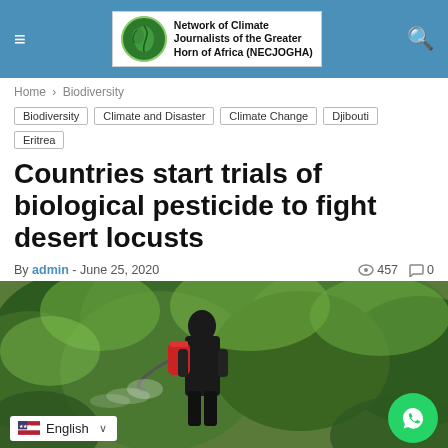Network of Climate Journalists of the Greater Horn of Africa (NECJOGHA)
Home > Biodiversity
Biodiversity
Climate and Disaster
Climate Change
Djibouti
Eritrea
Countries start trials of biological pesticide to fight desert locusts
By admin - June 25, 2020  457  0
[Figure (photo): Person in protective gear with backpack sprayer standing in front of dense green vegetation, spraying pesticide. Image appears to be outdoors in a vegetated hillside area.]